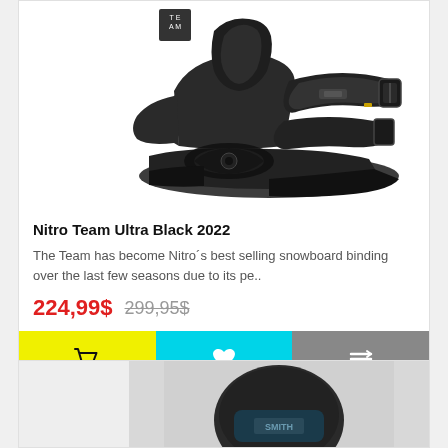[Figure (photo): Black snowboard binding (Nitro Team Ultra Black 2022) photographed against white background, showing straps, baseplate, and buckles.]
Nitro Team Ultra Black 2022
The Team has become Nitro´s best selling snowboard binding over the last few seasons due to its pe..
224,99$ 299,95$
[Figure (photo): Partial product image at bottom of page showing a dark helmet or goggles product.]